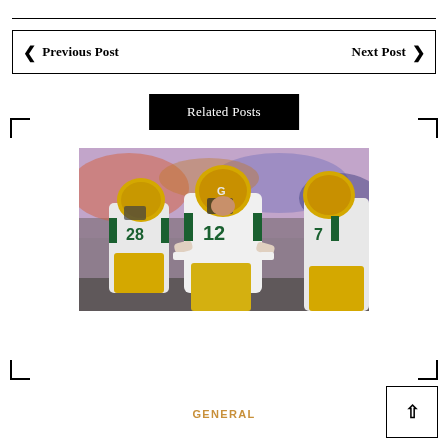◀  Previous Post    Next Post  ▶
Related Posts
[Figure (photo): Green Bay Packers players on the field. Player #12 in the center wearing white jersey and green/yellow helmet stands with hands on hips looking frustrated. Player #28 visible on left. Another player partially visible on right. Background shows blurred crowd.]
GENERAL